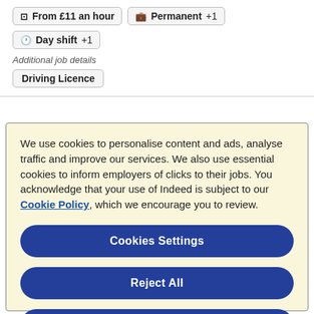From £11 an hour
Permanent +1
Day shift +1
Additional job details
Driving Licence
We use cookies to personalise content and ads, analyse traffic and improve our services. We also use essential cookies to inform employers of clicks to their jobs. You acknowledge that your use of Indeed is subject to our Cookie Policy, which we encourage you to review.
Cookies Settings
Reject All
Accept All Cookies